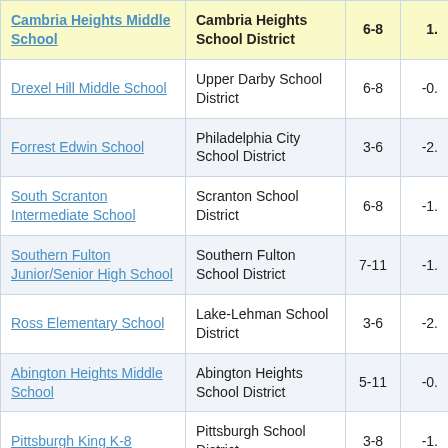| School | District | Grades | Value |
| --- | --- | --- | --- |
| Cambria Heights Middle School | Cambria Heights School District | 6-8 | 1. |
| Drexel Hill Middle School | Upper Darby School District | 6-8 | -0. |
| Forrest Edwin School | Philadelphia City School District | 3-6 | -2. |
| South Scranton Intermediate School | Scranton School District | 6-8 | -1. |
| Southern Fulton Junior/Senior High School | Southern Fulton School District | 7-11 | -1. |
| Ross Elementary School | Lake-Lehman School District | 3-6 | -2. |
| Abington Heights Middle School | Abington Heights School District | 5-11 | -0. |
| Pittsburgh King K-8 | Pittsburgh School District | 3-8 | -1. |